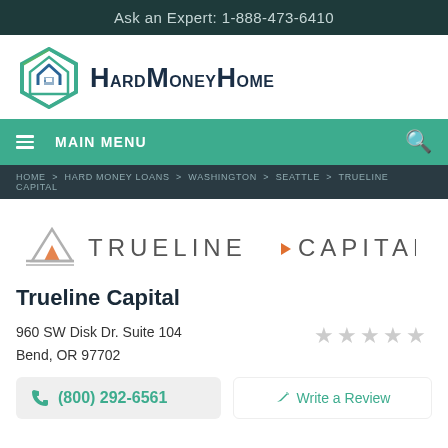Ask an Expert: 1-888-473-6410
[Figure (logo): HardMoneyHome logo with hexagonal house icon and wordmark]
MAIN MENU
HOME > HARD MONEY LOANS > WASHINGTON > SEATTLE > TRUELINE CAPITAL
[Figure (logo): Trueline Capital logo with triangle/lines icon and wordmark]
Trueline Capital
960 SW Disk Dr. Suite 104
Bend, OR 97702
[Figure (other): 5 empty grey star rating]
(800) 292-6561
Write a Review